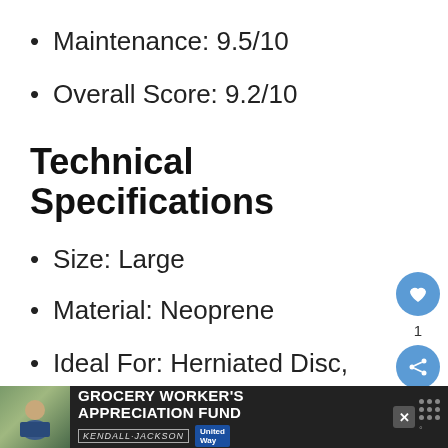Maintenance: 9.5/10
Overall Score: 9.2/10
Technical Specifications
Size: Large
Material: Neoprene
Ideal For: Herniated Disc, Scoliosis, Sciatica
[Figure (infographic): Floating action buttons: heart/like button with count 1, and share button, positioned on right side of page]
[Figure (infographic): Advertisement banner at bottom: Grocery Worker's Appreciation Fund with Kendall-Jackson and United Way logos, dark background]